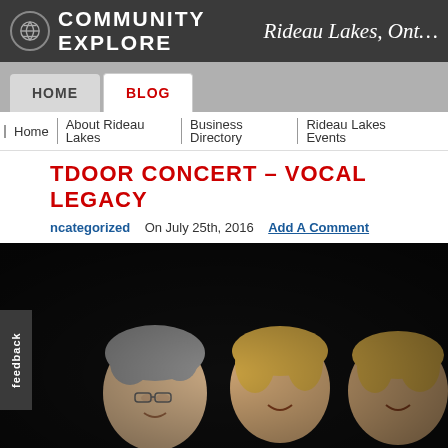COMMUNITY EXPLORE Rideau Lakes, Ont…
HOME | BLOG
Home | About Rideau Lakes | Business Directory | Rideau Lakes Events |
OUTDOOR CONCERT – VOCAL LEGACY
Uncategorized  On July 25th, 2016  Add A Comment
[Figure (photo): Portrait photo of three smiling adults (two women, one man) against a dark background. The man is on the left with gray hair and glasses, and two women are on the right with blonde hair.]